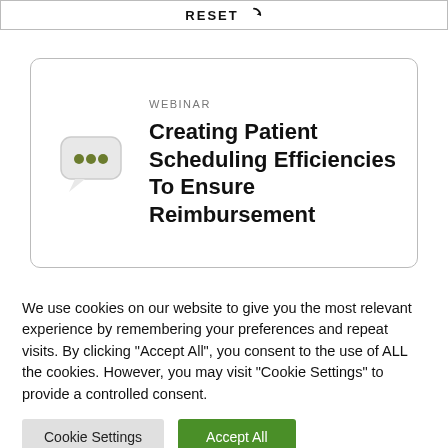RESET
[Figure (illustration): Chat bubble icon with three olive/green dots, gray rounded speech bubble shape]
WEBINAR
Creating Patient Scheduling Efficiencies To Ensure Reimbursement
We use cookies on our website to give you the most relevant experience by remembering your preferences and repeat visits. By clicking "Accept All", you consent to the use of ALL the cookies. However, you may visit "Cookie Settings" to provide a controlled consent.
Cookie Settings | Accept All